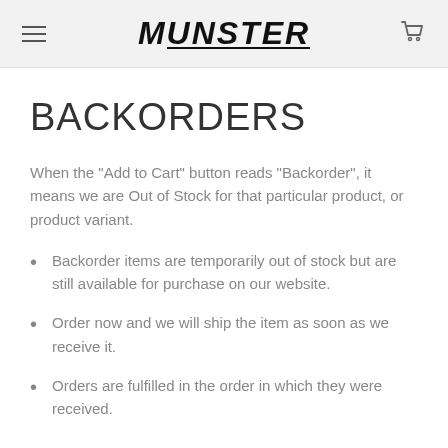MUNSTER
BACKORDERS
When the "Add to Cart" button reads "Backorder", it means we are Out of Stock for that particular product, or product variant.
Backorder items are temporarily out of stock but are still available for purchase on our website.
Order now and we will ship the item as soon as we receive it.
Orders are fulfilled in the order in which they were received.